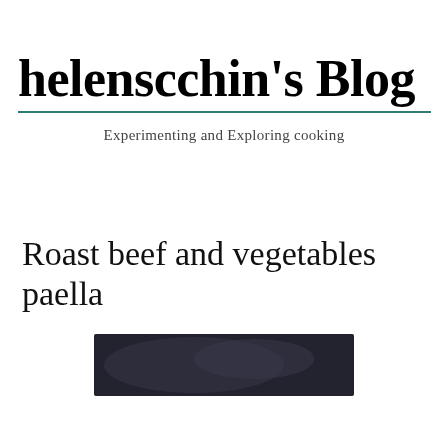helenscchin's Blog
Experimenting and Exploring cooking
Roast beef and vegetables paella
[Figure (photo): Partial view of a dark food photograph, likely showing the roast beef and vegetables paella dish]